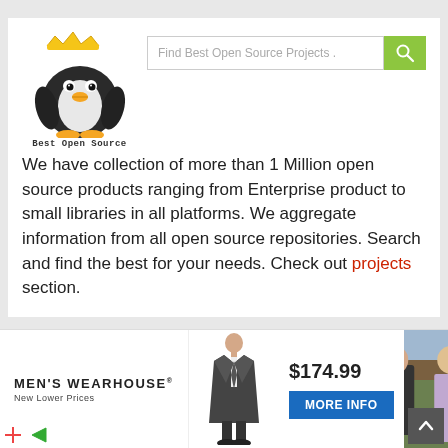[Figure (logo): Best Open Source website logo: penguin with crown and text 'Best Open Source']
Find Best Open Source Projects .
We have collection of more than 1 Million open source products ranging from Enterprise product to small libraries in all platforms. We aggregate information from all open source repositories. Search and find the best for your needs. Check out projects section.
[Figure (photo): Men's Wearhouse advertisement: man in suit, price $174.99, MORE INFO button, couple in formal wear photo. MEN'S WEARHOUSE New Lower Prices.]